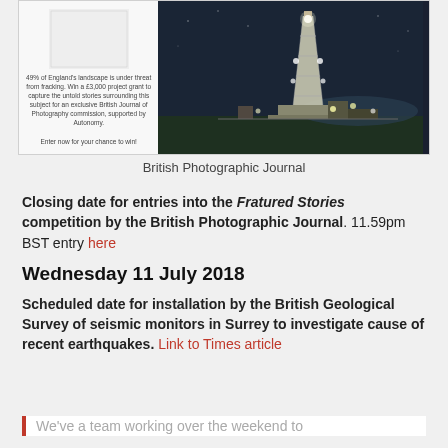[Figure (photo): Card containing a photography journal advertisement with a night-time oil rig photo on the right and text on the left]
British Photographic Journal
Closing date for entries into the Fratured Stories competition by the British Photographic Journal. 11.59pm BST entry here
Wednesday 11 July 2018
Scheduled date for installation by the British Geological Survey of seismic monitors in Surrey to investigate cause of recent earthquakes. Link to Times article
We've a team working over the weekend to